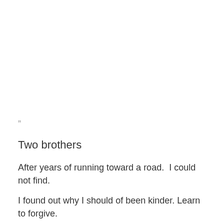”
Two brothers
After years of running toward a road.  I could not find.
I found out why I should of been kinder. Learn to forgive.
Be a friend instead of a bastard. With only his dreams as his goals.